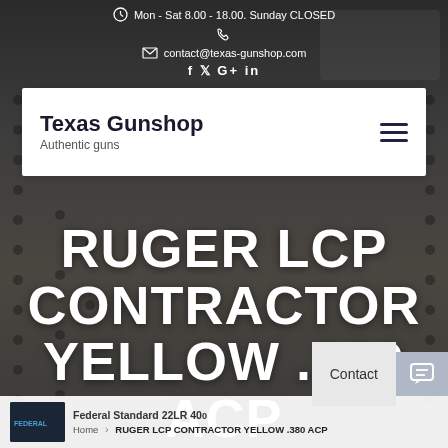Mon - Sat 8.00 - 18.00. Sunday CLOSED
contact@texas-gunshop.com
f y G+ in
Texas Gunshop
Authentic guns
RUGER LCP CONTRACTOR YELLOW .380 ACP
Federal Standard 22LR 400
Home > RUGER LCP CONTRACTOR YELLOW .380 ACP
Contact